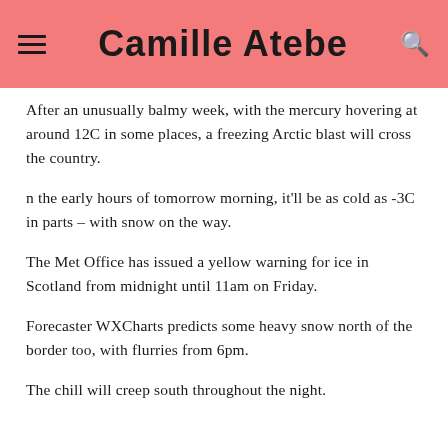Camille Atebe
After an unusually balmy week, with the mercury hovering at around 12C in some places, a freezing Arctic blast will cross the country.
n the early hours of tomorrow morning, it'll be as cold as -3C in parts – with snow on the way.
The Met Office has issued a yellow warning for ice in Scotland from midnight until 11am on Friday.
Forecaster WXCharts predicts some heavy snow north of the border too, with flurries from 6pm.
The chill will creep south throughout the night.